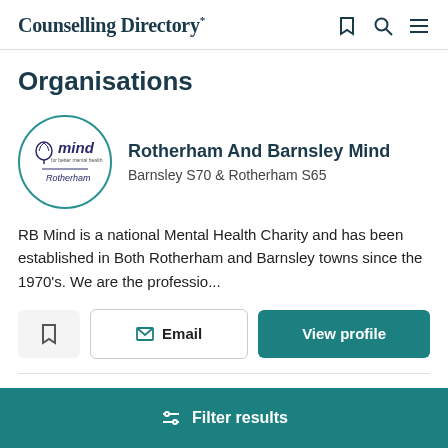Counselling Directory*
Organisations
[Figure (logo): Rotherham and Barnsley Mind circular logo with tree/brain icon and text 'mind for better mental health' and 'rotherham']
Rotherham And Barnsley Mind
Barnsley S70 & Rotherham S65
RB Mind is a national Mental Health Charity and has been established in Both Rotherham and Barnsley towns since the 1970's. We are the professio...
Filter results